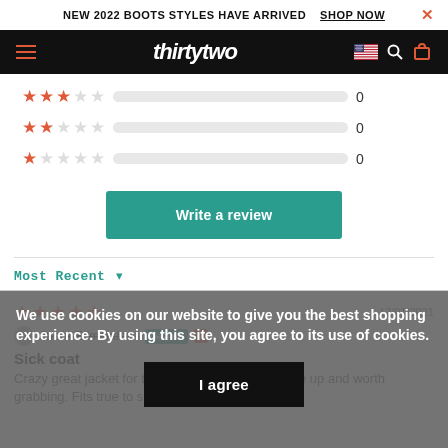NEW 2022 BOOTS STYLES HAVE ARRIVED   SHOP NOW   ✕
[Figure (logo): ThirtyTwo brand logo on black navigation bar with hamburger menu, US flag, search and cart icons]
[Figure (other): 3-star rating bar row with 0 count]
[Figure (other): 2-star rating bar row with 0 count]
[Figure (other): 1-star rating bar row with 0 count]
Write a review
Most Recent ▾
12/01/2021
Justin Edmondson Verified
Sick coat
Crazy great jacket for the price. It's a definite come up and worth grabbing. Fits true to size.
We use cookies on our website to give you the best shopping experience. By using this site, you agree to its use of cookies.
I agree